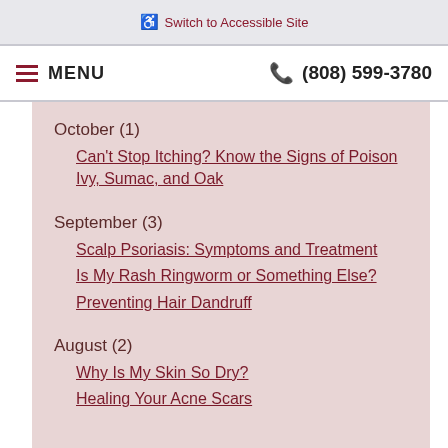Switch to Accessible Site
MENU   (808) 599-3780
October (1)
Can't Stop Itching? Know the Signs of Poison Ivy, Sumac, and Oak
September (3)
Scalp Psoriasis: Symptoms and Treatment
Is My Rash Ringworm or Something Else?
Preventing Hair Dandruff
August (2)
Why Is My Skin So Dry?
Healing Your Acne Scars